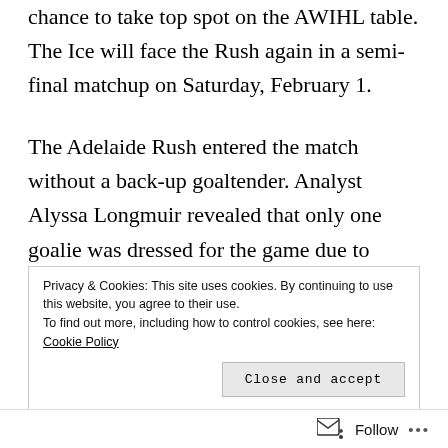chance to take top spot on the AWIHL table. The Ice will face the Rush again in a semi-final matchup on Saturday, February 1.
The Adelaide Rush entered the match without a back-up goaltender. Analyst Alyssa Longmuir revealed that only one goalie was dressed for the game due to match penalties being handed out to members of the coaching staff. Joanne Phillis, the regular back-up netminder, was called upon to make use of her coaching certificate to stand behind the bench.
Privacy & Cookies: This site uses cookies. By continuing to use this website, you agree to their use.
To find out more, including how to control cookies, see here: Cookie Policy
Close and accept